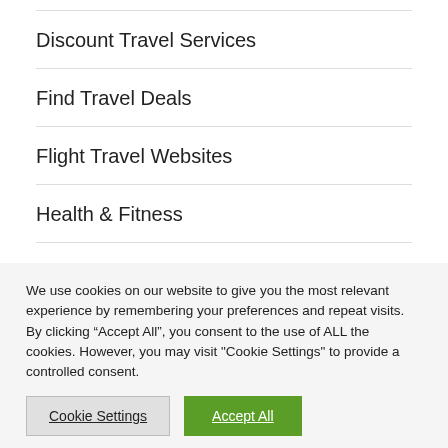Discount Travel Services
Find Travel Deals
Flight Travel Websites
Health & Fitness
Health Care & Medical
We use cookies on our website to give you the most relevant experience by remembering your preferences and repeat visits. By clicking “Accept All”, you consent to the use of ALL the cookies. However, you may visit "Cookie Settings" to provide a controlled consent.
Cookie Settings | Accept All